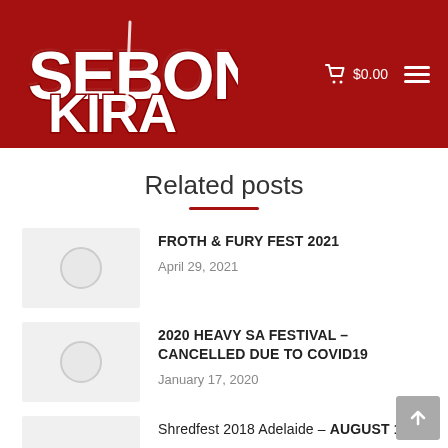[Figure (logo): Sebonkira logo in white grunge lettering on dark red background header with cart icon showing $0.00 and hamburger menu icon]
Related posts
[Figure (photo): Placeholder thumbnail image with grey background and circle icon for Froth & Fury Fest 2021 post]
FROTH & FURY FEST 2021
April 29, 2021
[Figure (photo): Placeholder thumbnail image with grey background and circle icon for 2020 Heavy SA Festival post]
2020 HEAVY SA FESTIVAL – CANCELLED DUE TO COVID19
January 17, 2020
[Figure (photo): Placeholder thumbnail image with grey background for Shredfest 2018 Adelaide post]
Shredfest 2018 Adelaide – AUGUST 11